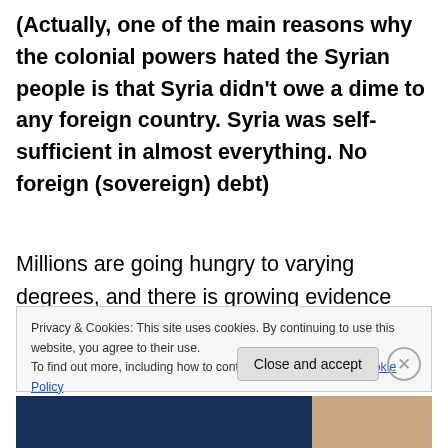(Actually, one of the main reasons why the colonial powers hated the Syrian people is that Syria didn't owe a dime to any foreign country. Syria was self-sufficient in almost everything. No foreign (sovereign) debt)
Millions are going hungry to varying degrees, and there is growing evidence that acute malnutrition is contributing to relatively small
Privacy & Cookies: This site uses cookies. By continuing to use this website, you agree to their use.
To find out more, including how to control cookies, see here: Cookie Policy
Close and accept